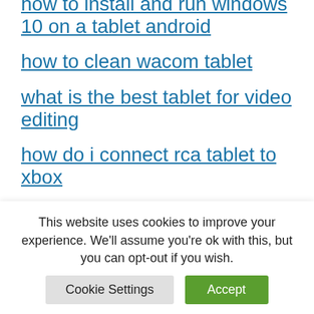how to install and run windows 10 on a tablet android
how to clean wacom tablet
what is the best tablet for video editing
how do i connect rca tablet to xbox
how many chlorine tablets for 10ft pool
who made the first tablet
how to flash the rom on a prison
This website uses cookies to improve your experience. We'll assume you're ok with this, but you can opt-out if you wish.